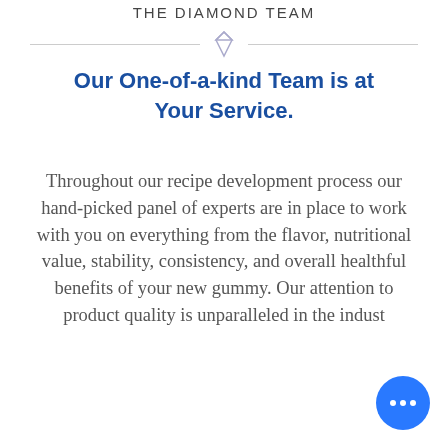THE DIAMOND TEAM
Our One-of-a-kind Team is at Your Service.
Throughout our recipe development process our hand-picked panel of experts are in place to work with you on everything from the flavor, nutritional value, stability, consistency, and overall healthful benefits of your new gummy. Our attention to product quality is unparalleled in the indust...
[Figure (illustration): Blue circular chat button with three white dots in the bottom-right corner]